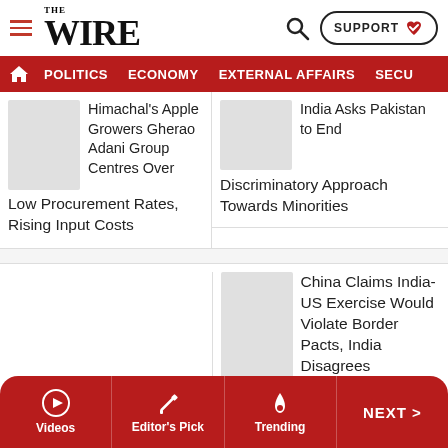THE WIRE — SUPPORT
POLITICS  ECONOMY  EXTERNAL AFFAIRS  SECU
Himachal's Apple Growers Gherao Adani Group Centres Over Low Procurement Rates, Rising Input Costs
India Asks Pakistan to End Discriminatory Approach Towards Minorities
China Claims India-US Exercise Would Violate Border Pacts, India Disagrees
Videos  Editor's Pick  Trending  NEXT >